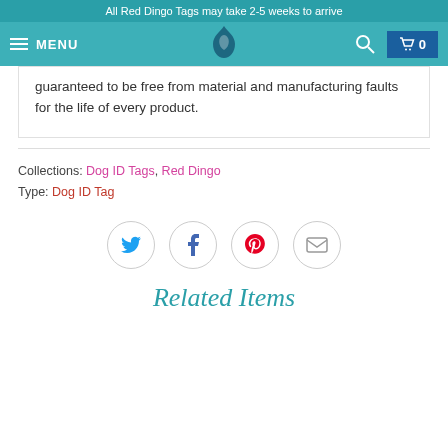All Red Dingo Tags may take 2-5 weeks to arrive
MENU  0
guaranteed to be free from material and manufacturing faults for the life of every product.
Collections: Dog ID Tags, Red Dingo
Type: Dog ID Tag
[Figure (infographic): Social sharing icons row: Twitter (blue bird), Facebook (f), Pinterest (red P), Email (envelope), each in a circular border]
Related Items